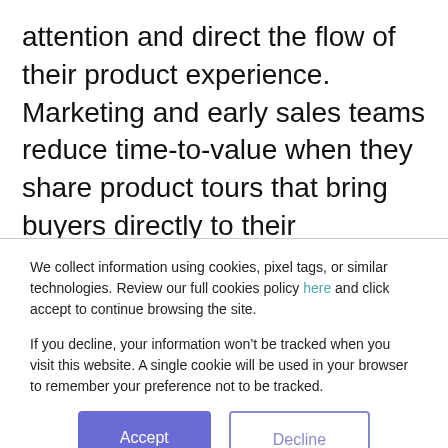attention and direct the flow of their product experience. Marketing and early sales teams reduce time-to-value when they share product tours that bring buyers directly to their software's “take my money” moments—the product features that make buyers tap their credit card on the table (or ask to talk to sales).
We collect information using cookies, pixel tags, or similar technologies. Review our full cookies policy here and click accept to continue browsing the site.

If you decline, your information won’t be tracked when you visit this website. A single cookie will be used in your browser to remember your preference not to be tracked.
Accept
Decline